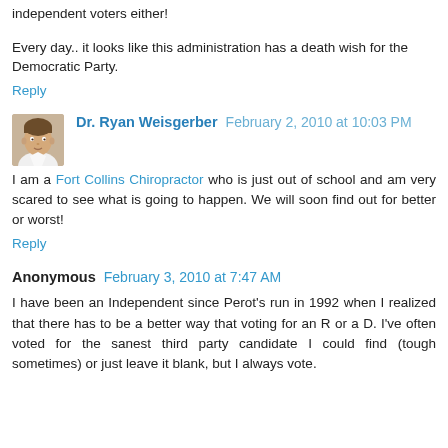independent voters either!
Every day.. it looks like this administration has a death wish for the Democratic Party.
Reply
Dr. Ryan Weisgerber  February 2, 2010 at 10:03 PM
I am a Fort Collins Chiropractor who is just out of school and am very scared to see what is going to happen. We will soon find out for better or worst!
Reply
Anonymous  February 3, 2010 at 7:47 AM
I have been an Independent since Perot's run in 1992 when I realized that there has to be a better way that voting for an R or a D. I've often voted for the sanest third party candidate I could find (tough sometimes) or just leave it blank, but I always vote.